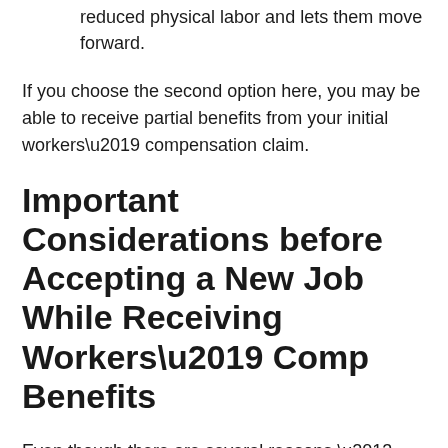reduced physical labor and lets them move forward.
If you choose the second option here, you may be able to receive partial benefits from your initial workers’ compensation claim.
Important Considerations before Accepting a New Job While Receiving Workers’ Comp Benefits
Even though there are several reasons – personal and financial – that will make taking a new job seem like an enticing choice, you should keep the potential risks and downsides in mind, too. These include: